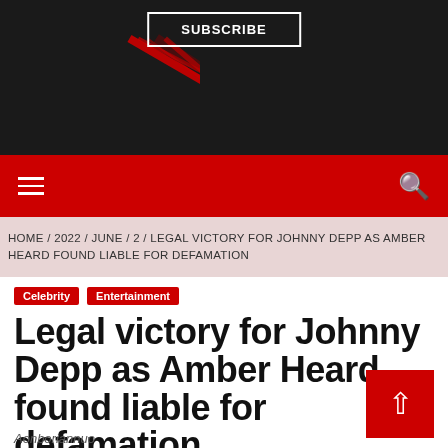Subscribe
Navigation bar with hamburger menu and search icon
HOME / 2022 / JUNE / 2 / LEGAL VICTORY FOR JOHNNY DEPP AS AMBER HEARD FOUND LIABLE FOR DEFAMATION
Celebrity  Entertainment
Legal victory for Johnny Depp as Amber Heard found liable for defamation
Aonboriannuo